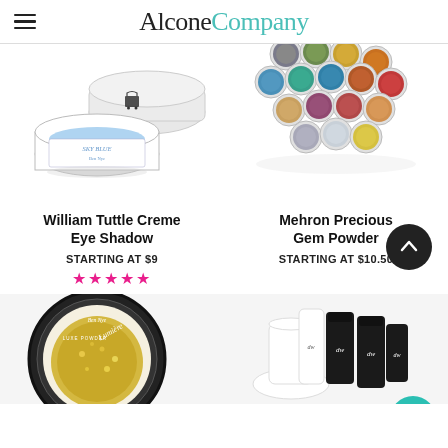AlconeCompany
[Figure (photo): William Tuttle Sky Blue Creme Eye Shadow jar with lid off, showing blue product inside, white ceramic jar with decorative label]
[Figure (photo): Mehron Precious Gem Powder collection of multiple small open containers arranged in a fan/heart pattern, showing various metallic and glitter colors]
William Tuttle Creme Eye Shadow
STARTING AT $9
★★★★★
Mehron Precious Gem Powder
STARTING AT $10.50
[Figure (photo): Ben Nye Lumiere Luxe Powder open container showing gold glitter powder]
[Figure (photo): Collection of black and white squeeze tubes with 'dw' logo arranged on white background]